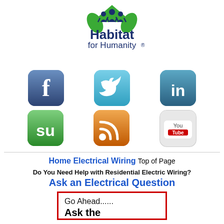[Figure (logo): Habitat for Humanity logo with green roof icon and people silhouettes, dark blue text reading Habitat for Humanity with registered trademark symbol]
[Figure (infographic): Six social media icons in a 2-row, 3-column grid: Facebook (blue f), Twitter (blue bird), LinkedIn (blue in), StumbleUpon (green su), RSS feed (orange wifi icon), YouTube (grey/white YouTube button)]
Home Electrical Wiring Top of Page
Do You Need Help with Residential Electric Wiring?
Ask an Electrical Question
Go Ahead...... Ask the